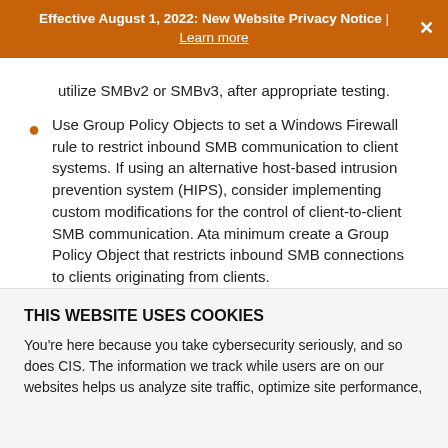Effective August 1, 2022: New Website Privacy Notice | Learn more
Where appropriate, disable SMBv1 on all systems and utilize SMBv2 or SMBv3, after appropriate testing.
Use Group Policy Objects to set a Windows Firewall rule to restrict inbound SMB communication to client systems. If using an alternative host-based intrusion prevention system (HIPS), consider implementing custom modifications for the control of client-to-client SMB communication. Ata minimum create a Group Policy Object that restricts inbound SMB connections to clients originating from clients.
Apply the Principle of Least Privilege to all systems and services and run all software as a non-privileged user...
THIS WEBSITE USES COOKIES
You're here because you take cybersecurity seriously, and so does CIS. The information we track while users are on our websites helps us analyze site traffic, optimize site performance,